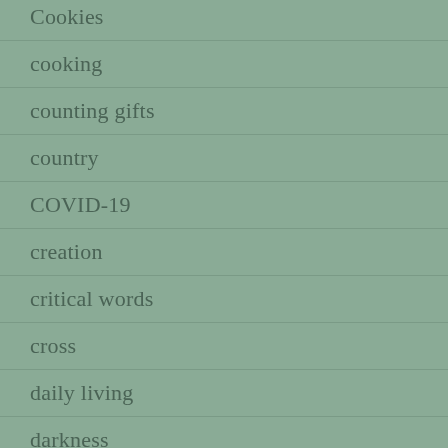Cookies
cooking
counting gifts
country
COVID-19
creation
critical words
cross
daily living
darkness
daughter
Day